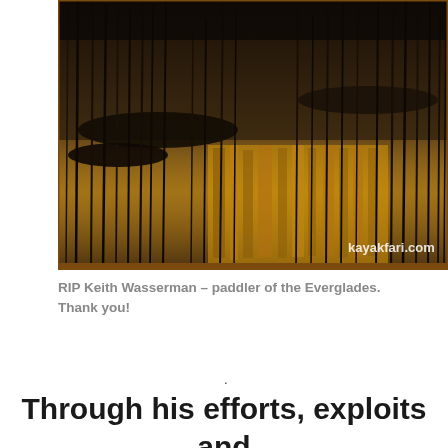[Figure (photo): A dark, atmospheric photograph of kayaks or canoes near tall reeds/grasses reflected in water, with warm golden lighting. A watermark reads 'kayakfari.com' in the lower right corner.]
RIP Keith Wasserman – paddler of the Everglades. Thank you!
.
Through his efforts, exploits and writings Keith Wasserman has left a lasting gift for all South